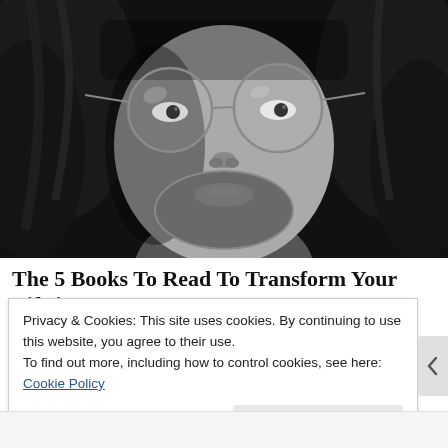[Figure (photo): Black and white close-up portrait of a young man with long dark hair, round wire-framed glasses, and a beard, looking upward]
The 5 Books To Read To Transform Your Life in
Privacy & Cookies: This site uses cookies. By continuing to use this website, you agree to their use.
To find out more, including how to control cookies, see here: Cookie Policy
Close and accept